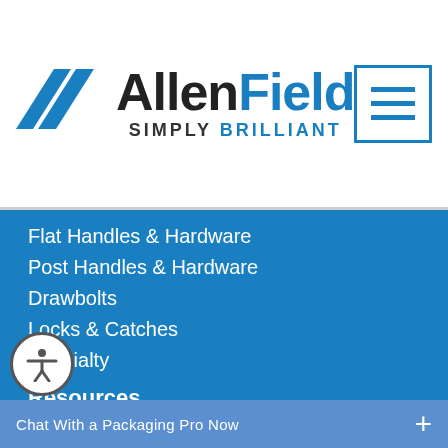[Figure (logo): AllenField logo with blue chevron/parallelogram mark on left, bold text 'Allen' in black and 'Field' in blue, tagline 'SIMPLY BRILLIANT' below]
[Figure (other): Hamburger menu button with three horizontal blue lines inside a blue-bordered square]
Flat Handles & Hardware
Post Handles & Hardware
Drawbolts
Locks & Catches
Specialty
Resources
Blog
Catalog
Credit Application
Customer Su[pport]
Chat With a Packaging Pro Now